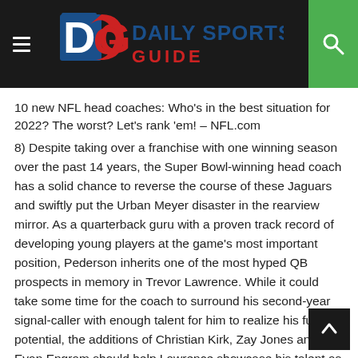Daily Sports Guide
10 new NFL head coaches: Who's in the best situation for 2022? The worst? Let's rank 'em! – NFL.com
8) Despite taking over a franchise with one winning season over the past 14 years, the Super Bowl-winning head coach has a solid chance to reverse the course of these Jaguars and swiftly put the Urban Meyer disaster in the rearview mirror. As a quarterback guru with a proven track record of developing young players at the game's most important position, Pederson inherits one of the most hyped QB prospects in memory in Trevor Lawrence. While it could take some time for the coach to surround his second-year signal-caller with enough talent for him to realize his full potential, the additions of Christian Kirk, Zay Jones and Evan Engram should help Lawrence showcase his talent as a dart thrower from the pocket. In